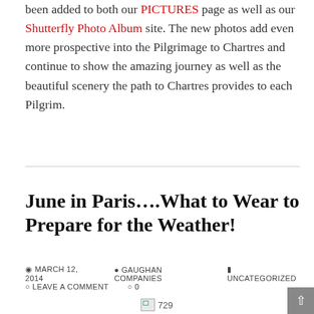been added to both our PICTURES page as well as our Shutterfly Photo Album site. The new photos add even more prospective into the Pilgrimage to Chartres and continue to show the amazing journey as well as the beautiful scenery the path to Chartres provides to each Pilgrim.
June in Paris….What to Wear to Prepare for the Weather!
MARCH 12, 2014   GAUGHAN COMPANIES   UNCATEGORIZED   LEAVE A COMMENT   0
[Figure (photo): Broken image placeholder showing '729']
During the three day adventure, be sure you are prepared for what June weather can bring to Paris, France region. This article